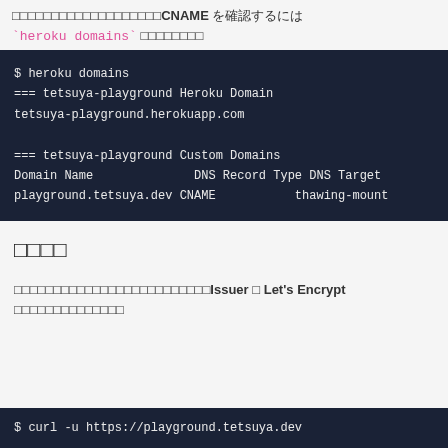CNAME を確認するには `heroku domains` コマンドを実行します
$ heroku domains
=== tetsuya-playground Heroku Domain
tetsuya-playground.herokuapp.com

=== tetsuya-playground Custom Domains
Domain Name              DNS Record Type DNS Target
playground.tetsuya.dev CNAME           thawing-mount
確認
証明書が正しく設定されている場合はIssuer が Let's Encrypt になっていることを確認します
$ curl -u https://playground.tetsuya.dev